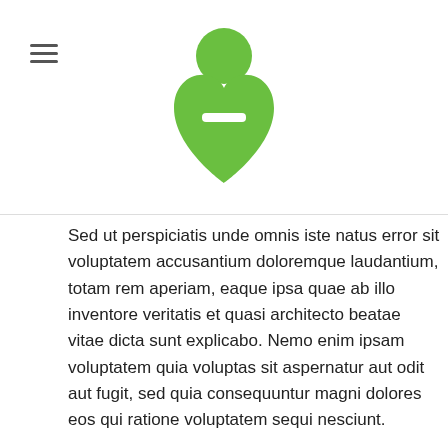[Figure (logo): Green person/heart logo icon — a green circle (person head) above a green heart shape with a minus symbol, forming a stylized person with a heart body]
Sed ut perspiciatis unde omnis iste natus error sit voluptatem accusantium doloremque laudantium, totam rem aperiam, eaque ipsa quae ab illo inventore veritatis et quasi architecto beatae vitae dicta sunt explicabo. Nemo enim ipsam voluptatem quia voluptas sit aspernatur aut odit aut fugit, sed quia consequuntur magni dolores eos qui ratione voluptatem sequi nesciunt.
[/fusion_text][fusion_separator style_type="default" hide_on_mobile="small-visibility,medium-visibility,large-visibility" class="" id="" sep_color="" top_margin="5px"